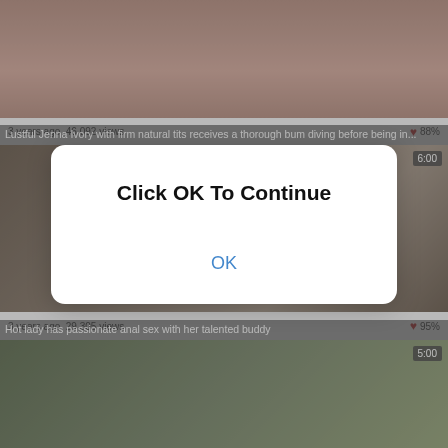[Figure (screenshot): Video thumbnail showing adult content - first video card]
Lustful Jenna Ivory with firm natural tits receives a thorough bum diving before being in...
3 years ago  46 092 views  ♥ 88%
[Figure (screenshot): Video thumbnail showing adult content - second video card, duration 6:00]
Hot lady has passionate anal sex with her talented buddy
3 years ago  29 305 views  ♥ 95%
[Figure (screenshot): Video thumbnail - third video card, duration 5:00, outdoor scene]
[Figure (screenshot): Modal dialog overlay: Click OK To Continue with OK button]